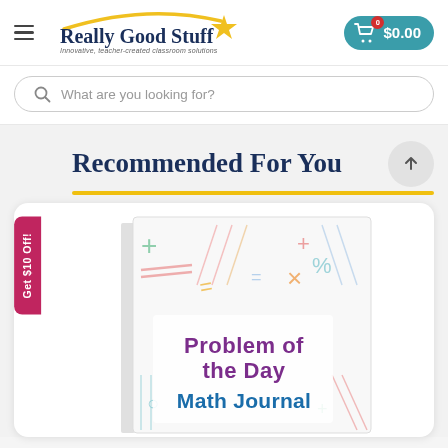[Figure (logo): Really Good Stuff logo with star and arc, tagline: Innovative, teacher-created classroom solutions]
[Figure (screenshot): Shopping cart icon with red badge showing 0, button showing $0.00 price]
What are you looking for?
Recommended For You
[Figure (photo): Book cover showing 'Problem of the Day Math Journal' with colorful math symbols (+, =, x, %) on white background. Text in purple and blue.]
Get $10 Off!